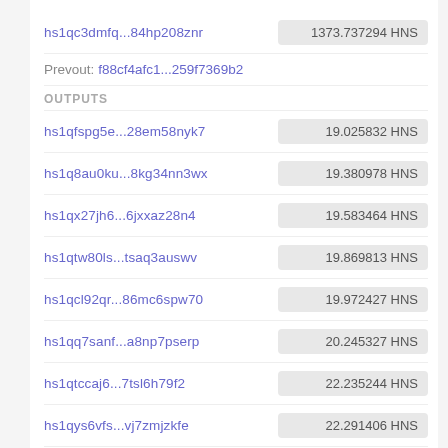hs1qc3dmfq...84hp208znr
1373.737294 HNS
Prevout: f88cf4afc1...259f7369b2
OUTPUTS
hs1qfspg5e...28em58nyk7
19.025832 HNS
hs1q8au0ku...8kg34nn3wx
19.380978 HNS
hs1qx27jh6...6jxxaz28n4
19.583464 HNS
hs1qtw80ls...tsaq3auswv
19.869813 HNS
hs1qcl92qr...86mc6spw70
19.972427 HNS
hs1qq7sanf...a8np7pserp
20.245327 HNS
hs1qtccaj6...7tsl6h79f2
22.235244 HNS
hs1qys6vfs...vj7zmjzkfe
22.291406 HNS
hs1qltc48g...wwgifkwwtq
23.297299 HNS